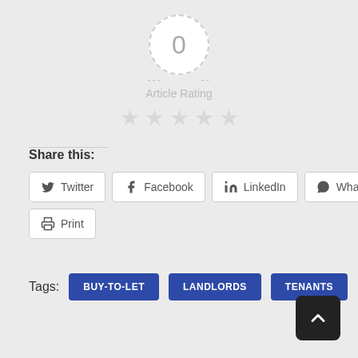[Figure (infographic): Article rating widget showing a dashed circle with '0' inside, dashes on each side, 'Article Rating' text below, and 5 empty grey stars]
Share this:
Twitter | Facebook | LinkedIn | WhatsApp | Print
Tags: BUY-TO-LET  LANDLORDS  TENANTS
[Figure (other): Back to top arrow button (dark square with upward chevron)]